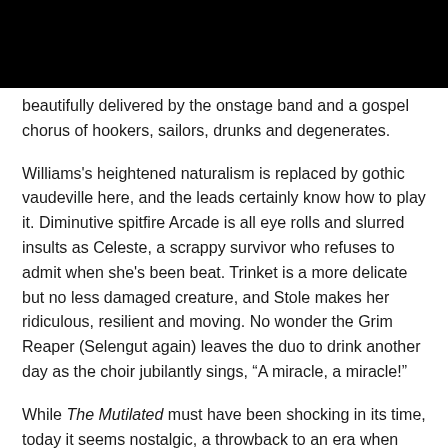beautifully delivered by the onstage band and a gospel chorus of hookers, sailors, drunks and degenerates.
Williams's heightened naturalism is replaced by gothic vaudeville here, and the leads certainly know how to play it. Diminutive spitfire Arcade is all eye rolls and slurred insults as Celeste, a scrappy survivor who refuses to admit when she's been beat. Trinket is a more delicate but no less damaged creature, and Stole makes her ridiculous, resilient and moving. No wonder the Grim Reaper (Selengut again) leaves the duo to drink another day as the choir jubilantly sings, “A miracle, a miracle!”
While The Mutilated must have been shocking in its time, today it seems nostalgic, a throwback to an era when “the strange, the crazed, the queer,” as Williams calls them,